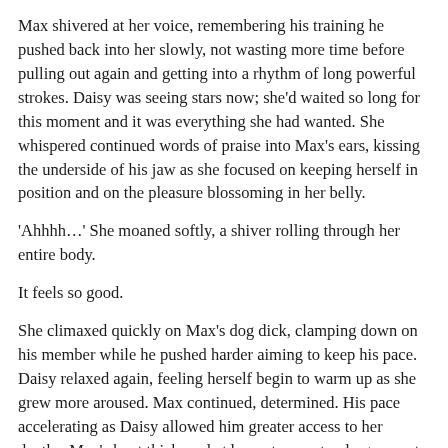Max shivered at her voice, remembering his training he pushed back into her slowly, not wasting more time before pulling out again and getting into a rhythm of long powerful strokes. Daisy was seeing stars now; she'd waited so long for this moment and it was everything she had wanted. She whispered continued words of praise into Max's ears, kissing the underside of his jaw as she focused on keeping herself in position and on the pleasure blossoming in her belly.
‘Ahhhh…’ She moaned softly, a shiver rolling through her entire body.
It feels so good.
She climaxed quickly on Max’s dog dick, clamping down on his member while he pushed harder aiming to keep his pace. Daisy relaxed again, feeling herself begin to warm up as she grew more aroused. Max continued, determined. His pace accelerating as Daisy allowed him greater access to her depths. Max’s knot thickened at her entrance, too large now to enter her, but allowing Max to bounce back quickly as he pressed it against her. The gentle stretch as it pushed at her entrance was plenty to enjoy now. Another orgasm rocked through Daisy, her eyes rolling back and a louder moan escaping her throat.